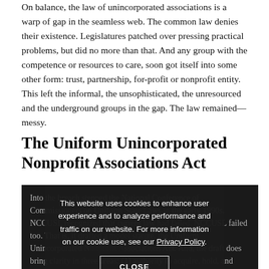On balance, the law of unincorporated associations is a warp of gap in the seamless web. The common law denies their existence. Legislatures patched over pressing practical problems, but did no more than that. And any group with the competence or resources to care, soon got itself into some other form: trust, partnership, for-profit or nonprofit entity. This left the informal, the unsophisticated, the unresourced and the underground groups in the gap. The law remained—messy.
The Uniform Unincorporated Nonprofit Associations Act
Into the breach stepped the National Conference of Commissioners on Uniform State Laws in the early 1990s. NCCUSL recognized that current law had failed. NCCUSL failed too. That is, it drafted a model statute, the Uniform Unincorporated Nonprofit Associations Act. And, the draft does bring clarity in three areas: (1) authority to acquire, hold, and transfer property, especially real property; (2) authority
This website uses cookies to enhance user experience and to analyze performance and traffic on our website. For more information on our cookie use, see our Privacy Policy